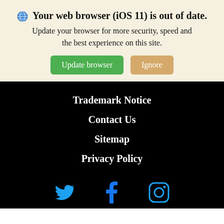🌐 Your web browser (iOS 11) is out of date. Update your browser for more security, speed and the best experience on this site.
[Figure (screenshot): Two buttons: 'Update browser' (green) and 'Ignore' (tan/orange)]
Trademark Notice
Contact Us
Sitemap
Privacy Policy
[Figure (illustration): Social media icons: Twitter bird, Facebook f, Instagram camera — all in blue on black background]